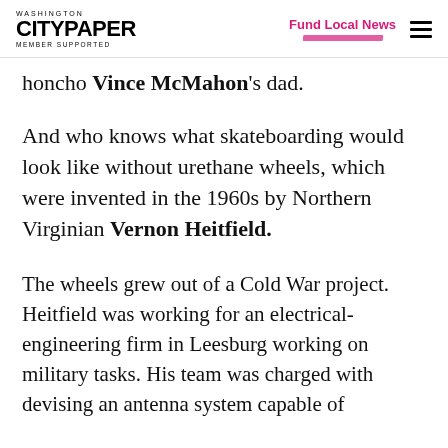WASHINGTON CITYPAPER MEMBER SUPPORTED | Fund Local News
honcho Vince McMahon's dad.
And who knows what skateboarding would look like without urethane wheels, which were invented in the 1960s by Northern Virginian Vernon Heitfield.
The wheels grew out of a Cold War project. Heitfield was working for an electrical-engineering firm in Leesburg working on military tasks. His team was charged with devising an antenna system capable of